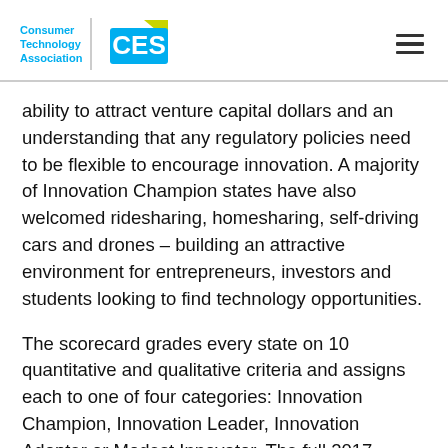Consumer Technology Association CES
ability to attract venture capital dollars and an understanding that any regulatory policies need to be flexible to encourage innovation. A majority of Innovation Champion states have also welcomed ridesharing, homesharing, self-driving cars and drones – building an attractive environment for entrepreneurs, investors and students looking to find technology opportunities.
The scorecard grades every state on 10 quantitative and qualitative criteria and assigns each to one of four categories: Innovation Champion, Innovation Leader, Innovation Adopter or Modest Innovator. The full 2017 Innovation Scorecard, featuring category rankings, state-by-state profiles and an explanation of CTA's methodology can be found online at